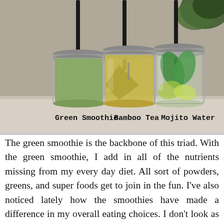[Figure (photo): Three mason jars with metal lids and black straws on a white surface with a green plant in the background. Left jar contains green smoothie, middle jar contains yellow bamboo tea with a tea bag, right jar contains clear mojito water with mint leaves and lime slices. Labels on the photo read: Green Smoothie, Bamboo Tea, Mojito Water.]
The green smoothie is the backbone of this triad. With the green smoothie, I add in all of the nutrients missing from my every day diet. All sort of powders, greens, and super foods get to join in the fun. I've also noticed lately how the smoothies have made a difference in my overall eating choices. I don't look as haggard and worn as I should although I've missed a